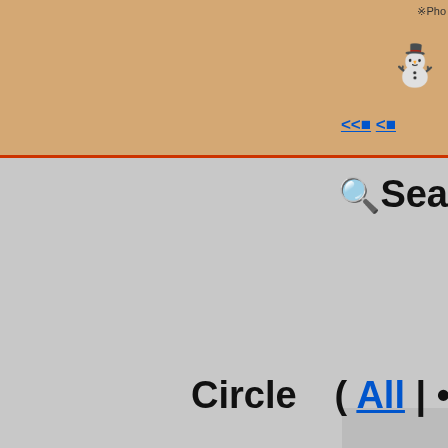[Figure (screenshot): Website interface screenshot showing navigation elements with orange/tan header bar containing a snowman icon, navigation arrows (<<■ <■), a search area with magnifying glass icon labeled 'Sea', page content with 'Circle（( All | •', 'Period（( •', 'PracticeNofT（( 1', '[+] D' links, and an upload arrow icon box in the center-left gray area. Bottom strip shows thumbnail images.]
※Pho
<<■ <■
Sea
Circle（( All | •
Period（( •
PracticeNofT（( 1
[+] D